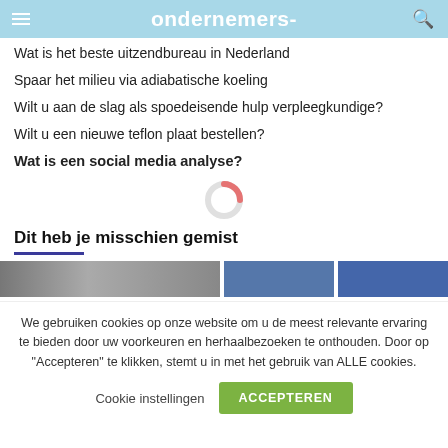ondernemers-
Wat is het beste uitzendbureau in Nederland
Spaar het milieu via adiabatische koeling
Wilt u aan de slag als spoedeisende hulp verpleegkundige?
Wilt u een nieuwe teflon plaat bestellen?
Wat is een social media analyse?
[Figure (other): Loading spinner icon, pink and light gray donut shape]
Dit heb je misschien gemist
[Figure (photo): Three image thumbnails in a horizontal strip: a gray/silver blurred image on the left, and two blue-toned images on the right]
We gebruiken cookies op onze website om u de meest relevante ervaring te bieden door uw voorkeuren en herhaalbezoeken te onthouden. Door op "Accepteren" te klikken, stemt u in met het gebruik van ALLE cookies.
Cookie instellingen   ACCEPTEREN